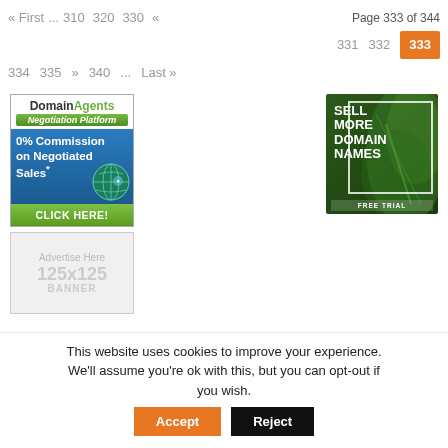« First  ...  310  320  330  «    Page 333 of 344
331  332  333
334  335  »  340  ...  Last »
[Figure (advertisement): DomainAgents Negotiation Platform ad: 0% Commission on Negotiated Sales* CLICK HERE!]
[Figure (advertisement): Advertise Here 125x125 BANNER placeholder ad]
[Figure (advertisement): SELL MORE DOMAIN NAMES FREE TRIAL ad with green tropical background]
This website uses cookies to improve your experience. We'll assume you're ok with this, but you can opt-out if you wish.
Accept  Reject